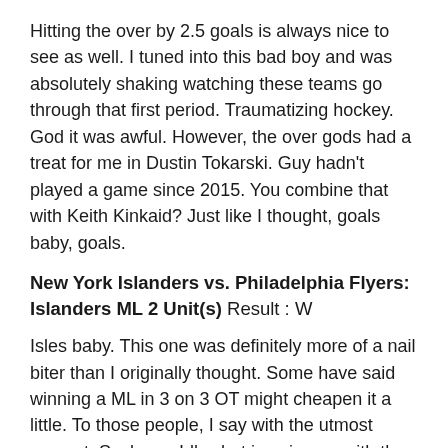Hitting the over by 2.5 goals is always nice to see as well. I tuned into this bad boy and was absolutely shaking watching these teams go through that first period. Traumatizing hockey. God it was awful. However, the over gods had a treat for me in Dustin Tokarski. Guy hadn't played a game since 2015. You combine that with Keith Kinkaid? Just like I thought, goals baby, goals.
New York Islanders vs. Philadelphia Flyers: Islanders ML 2 Unit(s) Result : W
Isles baby. This one was definitely more of a nail biter than I originally thought. Some have said winning a ML in 3 on 3 OT might cheapen it a little. To those people, I say with the utmost respect: Suck me. Idk what is going on with the Flyers but expect to see more islanders bets in the future.